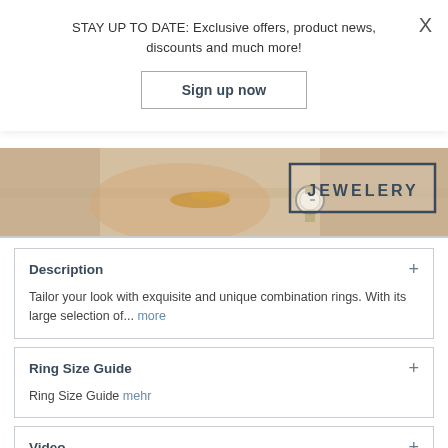STAY UP TO DATE: Exclusive offers, product news, discounts and much more!
Sign up now
[Figure (photo): Banner image showing a person wearing a bracelet and watch with a rectangle box labeled JEWELERY]
Description +
Tailor your look with exquisite and unique combination rings. With its large selection of... more
Ring Size Guide +
Ring Size Guide mehr
Video +